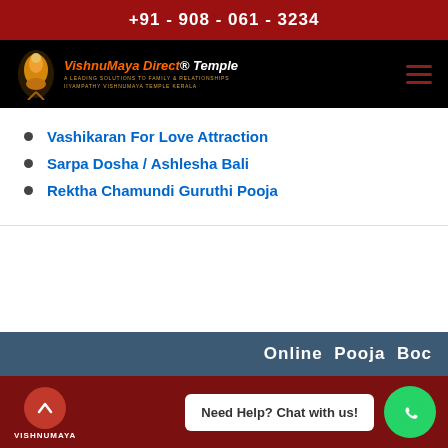+91 - 908 - 061 - 3234
[Figure (logo): VishnoMaya Direct Temple logo with icon and subtitle text]
Vashikaran For Love Attraction
Sarpa Dosha / Ashlesha Bali
Rektha Chamundi Guruthi Pooja
Online Pooja Boc
Need Help? Chat with us!
VISHNUMAYA